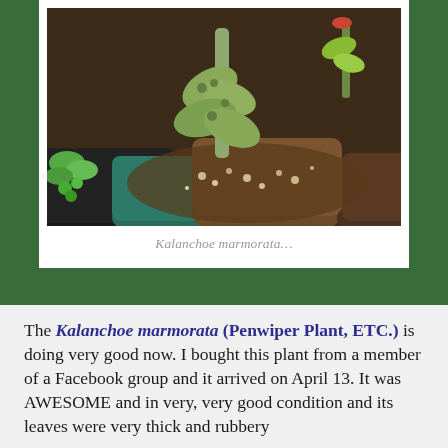[Figure (photo): Close-up photograph of Kalanchoe marmorata succulent plants in pots with pebble soil, showing thick spotted leaves and stems]
Kalanchoe marmorata…
The Kalanchoe marmorata (Penwiper Plant, ETC.) is doing very good now. I bought this plant from a member of a Facebook group and it arrived on April 13. It was AWESOME and in very, very good condition and its leaves were very thick and rubbery